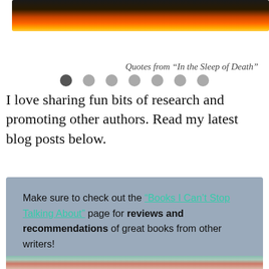[Figure (photo): Fire/flames image at top of page, dark background with orange and yellow flames]
[Figure (infographic): Row of 7 navigation dots, first dot is dark/active, remaining 6 are light grey]
Quotes from “In the Sleep of Death”
I love sharing fun bits of research and promoting other authors. Read my latest blog posts below.
Make sure to check out the “Books I Can’t Stop Talking About” page for reviews and recommendations of great books from other writers!
[Figure (photo): Partial photo at bottom showing a person with red/pink hair in a blurred outdoor setting]